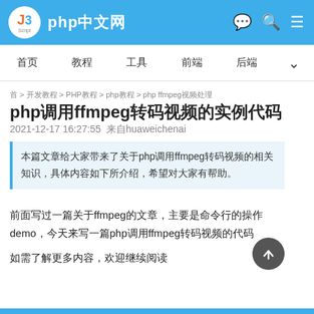php中文网
首页  教程  工具  前端  后端  ∨
首 > 开发教程 > PHP教程 > php教程 > php ffmpeg视频处理
php调用ffmpeg转码视频的实例代码
2021-12-17 16:27:55  来自huaweichenai
本篇文章给大家带来了关于php调用ffmpeg转码视频的相关知识，具体内容如下所介绍，希望对大家有帮助。
前面写过一篇关于ffmpeg的文章，主要是命令行的操作demo，今天来写一篇php调用ffmpeg转码视频的代码